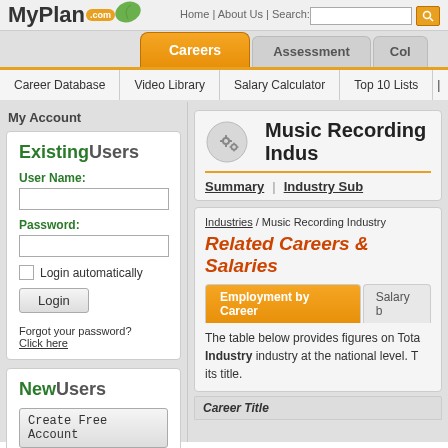[Figure (screenshot): MyPlan.com website header with logo showing green leaf and '.com' badge]
Home | About Us | Search:
Careers | Assessment | Col
Career Database | Video Library | Salary Calculator | Top 10 Lists
My Account
ExistingUsers
User Name:
Password:
Login automatically
Login
Forgot your password? Click here
NewUsers
Create Free Account
Music Recording Indus
Summary | Industry Sub
Industries / Music Recording Industry
Related Careers & Salaries
Employment by Career
Salary b
The table below provides figures on Tota Industry industry at the national level. T its title.
Career Title